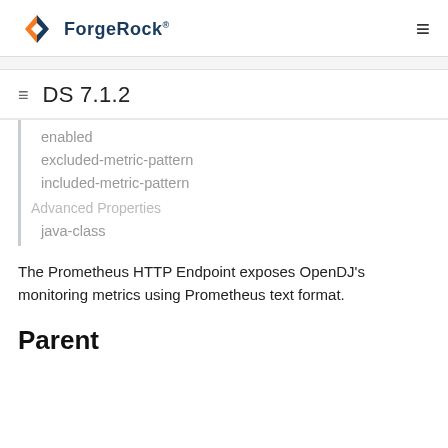ForgeRock
DS 7.1.2
enabled
excluded-metric-pattern
included-metric-pattern
Advanced Properties
java-class
The Prometheus HTTP Endpoint exposes OpenDJ's monitoring metrics using Prometheus text format.
Parent